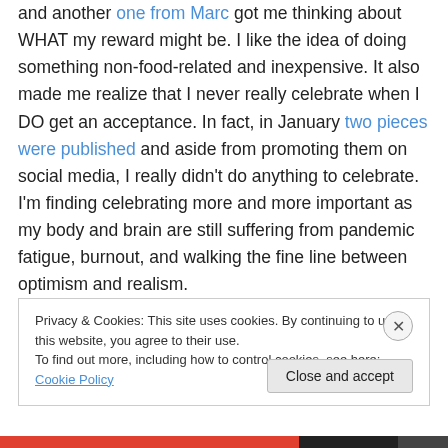and another one from Marc got me thinking about WHAT my reward might be. I like the idea of doing something non-food-related and inexpensive. It also made me realize that I never really celebrate when I DO get an acceptance. In fact, in January two pieces were published and aside from promoting them on social media, I really didn't do anything to celebrate. I'm finding celebrating more and more important as my body and brain are still suffering from pandemic fatigue, burnout, and walking the fine line between optimism and realism.
Privacy & Cookies: This site uses cookies. By continuing to use this website, you agree to their use. To find out more, including how to control cookies, see here: Cookie Policy